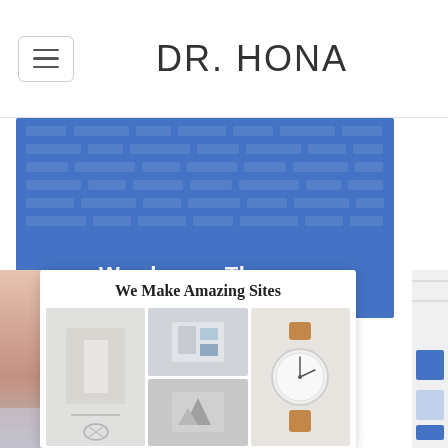DR. HONA
[Figure (screenshot): WordPress website screenshot showing blue banner with 'Wordpress Themes' text and white card below with 'We Make Amazing Sites' heading and product thumbnail grid]
Wordpress Themes
We Make Amazing Sites